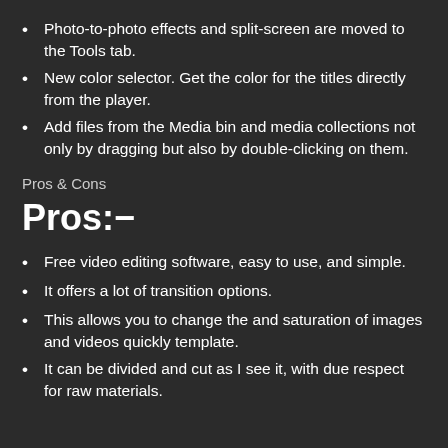Photo-to-photo effects and split-screen are moved to the Tools tab.
New color selector. Get the color for the titles directly from the player.
Add files from the Media bin and media collections not only by dragging but also by double-clicking on them.
Pros & Cons
Pros:−
Free video editing software, easy to use, and simple.
It offers a lot of transition options.
This allows you to change the and saturation of images and videos quickly template.
It can be divided and cut as I see it, with due respect for raw materials.